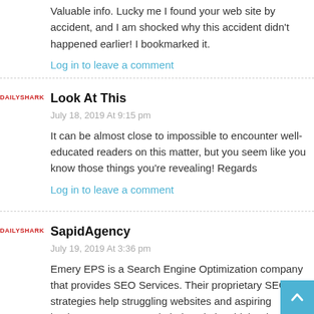Valuable info. Lucky me I found your web site by accident, and I am shocked why this accident didn't happened earlier! I bookmarked it.
Log in to leave a comment
Look At This
July 18, 2019 At 9:15 pm
It can be almost close to impossible to encounter well-educated readers on this matter, but you seem like you know those things you're revealing! Regards
Log in to leave a comment
SapidAgency
July 19, 2019 At 3:36 pm
Emery EPS is a Search Engine Optimization company that provides SEO Services. Their proprietary SEO strategies help struggling websites and aspiring business owners to rank their websites higher in multiple